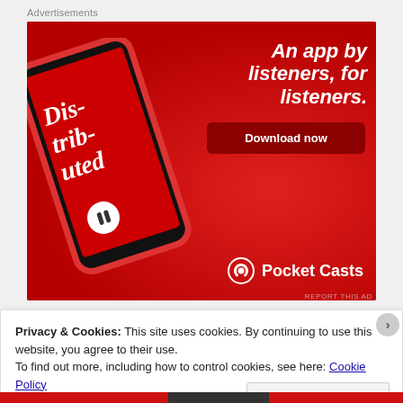Advertisements
[Figure (screenshot): Pocket Casts app advertisement on red background. Shows a smartphone displaying a podcast episode called 'Distributed'. Text reads 'An app by listeners, for listeners.' with a 'Download now' button and Pocket Casts logo at the bottom.]
REPORT THIS AD
Privacy & Cookies: This site uses cookies. By continuing to use this website, you agree to their use.
To find out more, including how to control cookies, see here: Cookie Policy
Close and accept